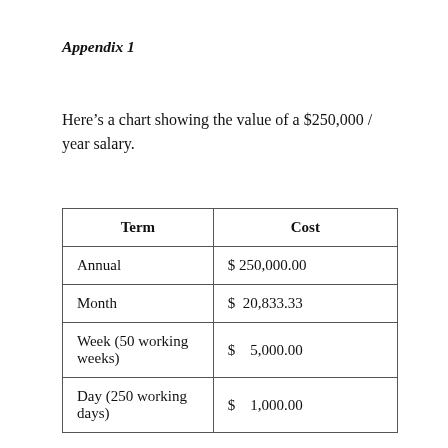Appendix 1
Here's a chart showing the value of a $250,000 / year salary.
| Term | Cost |
| --- | --- |
| Annual | $ 250,000.00 |
| Month | $  20,833.33 |
| Week (50 working weeks) | $    5,000.00 |
| Day (250 working days) | $    1,000.00 |